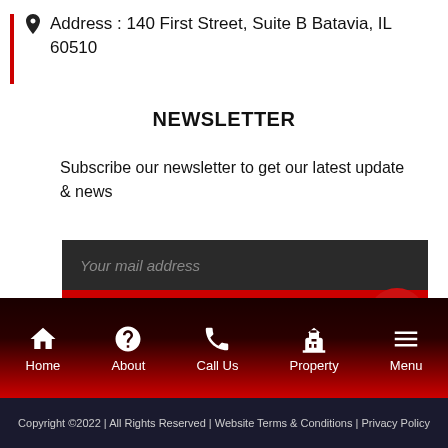Address : 140 First Street, Suite B Batavia, IL 60510
NEWSLETTER
Subscribe our newsletter to get our latest update & news
[Figure (other): Email subscription form with dark input field showing 'Your mail address' placeholder and red submit button with paper plane icon]
[Figure (other): Social media icons: Facebook, Twitter, Vimeo, YouTube, Instagram]
[Figure (other): Bottom navigation bar with Home, About, Call Us, Property, Menu icons on dark red gradient background, with red accessibility button]
Copyright ©2022 | All Rights Reserved | Website Terms & Conditions | Privacy Policy